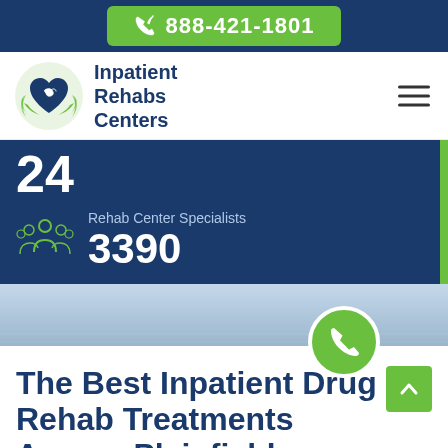888-421-1801
[Figure (logo): Inpatient Rehabs Centers logo with green hands holding heart]
Rehab Center Specialists
3390
[Figure (photo): Hospital hallway background photo with green phone call bubble]
The Best Inpatient Drug Rehab Treatments Across Plainfield